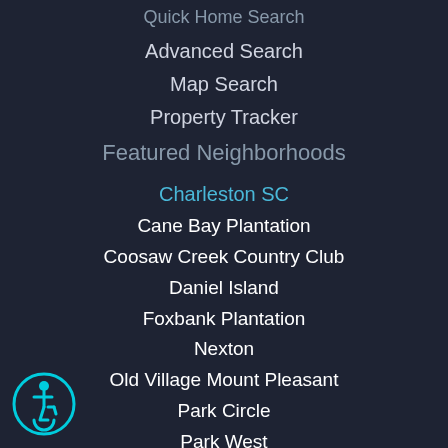Quick Home Search
Advanced Search
Map Search
Property Tracker
Featured Neighborhoods
Charleston SC
Cane Bay Plantation
Coosaw Creek Country Club
Daniel Island
Foxbank Plantation
Nexton
Old Village Mount Pleasant
Park Circle
Park West
South of Broad
Wescott Plantation
[Figure (illustration): Accessibility wheelchair icon, cyan colored circle with wheelchair symbol]
Columbia SC